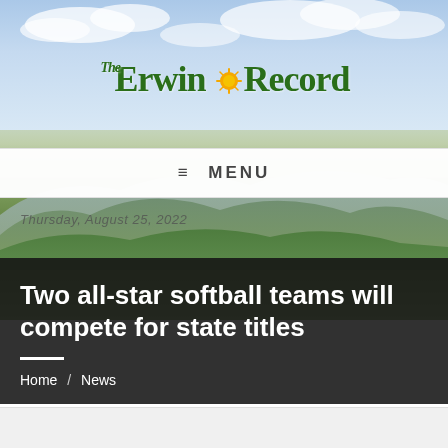[Figure (photo): Hero background with sky, clouds, and green mountain landscape]
The Erwin Record
≡ MENU
Thursday, August 25, 2022
Two all-star softball teams will compete for state titles
Home / News